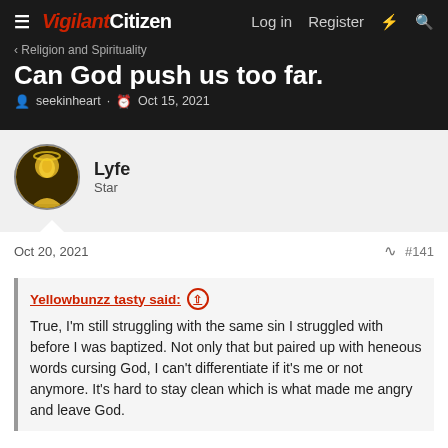Vigilant Citizen — Log in  Register
Religion and Spirituality
Can God push us too far.
seekinheart · Oct 15, 2021
Lyfe
Star
Oct 20, 2021  #141
Yellowbunzz tasty said:
True, I'm still struggling with the same sin I struggled with before I was baptized. Not only that but paired up with heneous words cursing God, I can't differentiate if it's me or not anymore. It's hard to stay clean which is what made me angry and leave God.